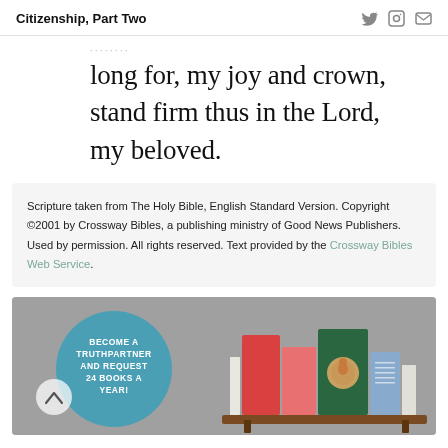Citizenship, Part Two
long for, my joy and crown, stand firm thus in the Lord, my beloved.
Scripture taken from The Holy Bible, English Standard Version. Copyright ©2001 by Crossway Bibles, a publishing ministry of Good News Publishers. Used by permission. All rights reserved. Text provided by the Crossway Bibles Web Service.
[Figure (illustration): Promotional banner with teal circle reading 'BECOME A TRUTHPARTNER AND REQUEST 24 BOOKS A YEAR!' alongside illustrated books on a wooden shelf against a grey background.]